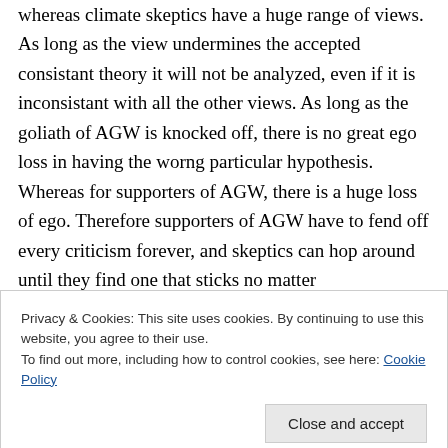whereas climate skeptics have a huge range of views. As long as the view undermines the accepted consistant theory it will not be analyzed, even if it is inconsistant with all the other views. As long as the goliath of AGW is knocked off, there is no great ego loss in having the worng particular hypothesis. Whereas for supporters of AGW, there is a huge loss of ego. Therefore supporters of AGW have to fend off every criticism forever, and skeptics can hop around until they find one that sticks no matter
Privacy & Cookies: This site uses cookies. By continuing to use this website, you agree to their use.
To find out more, including how to control cookies, see here: Cookie Policy
levels of the IPCC report than skeptics will just